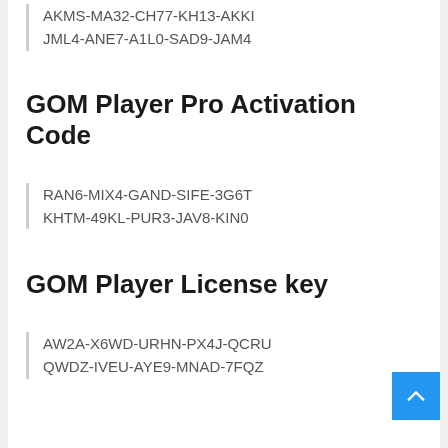AKMS-MA32-CH77-KH13-AKKI JML4-ANE7-A1L0-SAD9-JAM4
GOM Player Pro Activation Code
RAN6-MIX4-GAND-SIFE-3G6T KHTM-49KL-PUR3-JAV8-KIN0
GOM Player License key
AW2A-X6WD-URHN-PX4J-QCRU QWDZ-IVEU-AYE9-MNAD-7FQZ